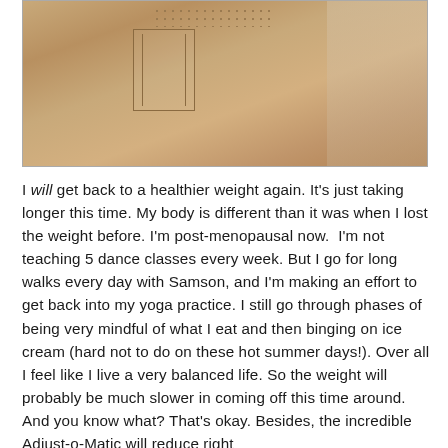[Figure (photo): A large brown cardboard or foam object photographed from above/front, showing textured material with dotted patterns, a rectangular panel cutout, and rivets or fasteners visible. Background shows a patterned rug and light-colored floor.]
I will get back to a healthier weight again. It's just taking longer this time. My body is different than it was when I lost the weight before. I'm post-menopausal now.  I'm not teaching 5 dance classes every week. But I go for long walks every day with Samson, and I'm making an effort to get back into my yoga practice. I still go through phases of being very mindful of what I eat and then binging on ice cream (hard not to do on these hot summer days!). Over all I feel like I live a very balanced life. So the weight will probably be much slower in coming off this time around.  And you know what? That's okay. Besides, the incredible Adjust-o-Matic will reduce right